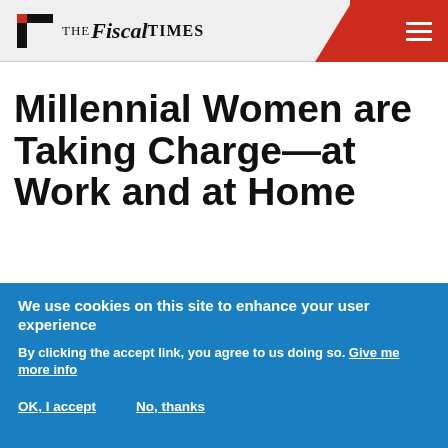THE FISCAL TIMES
Millennial Women are Taking Charge—at Work and at Home
[Figure (photo): Two professional women in an office/building setting, one in foreground talking on phone, another behind her looking down]
We use cookies on this site to enhance your user experience
By clicking the accept link, you agree to us doing so. Give me more info
OK, I accept    No, thanks